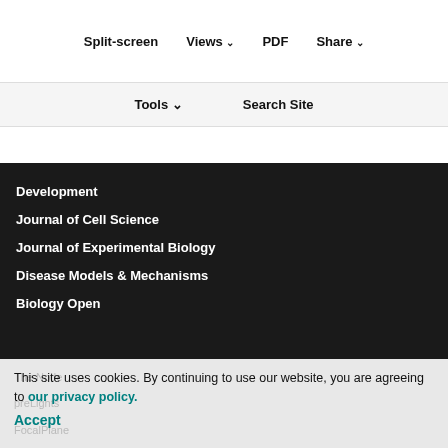Sign up for alerts
Contacts
Split-screen | Views | PDF | Share
Tools | Search Site
[Figure (logo): Journal of Experimental Biology logo with teal globe icon]
Development
Journal of Cell Science
Journal of Experimental Biology
Disease Models & Mechanisms
Biology Open
The Node
preLights
FocalPlane
This site uses cookies. By continuing to use our website, you are agreeing to our privacy policy. Accept